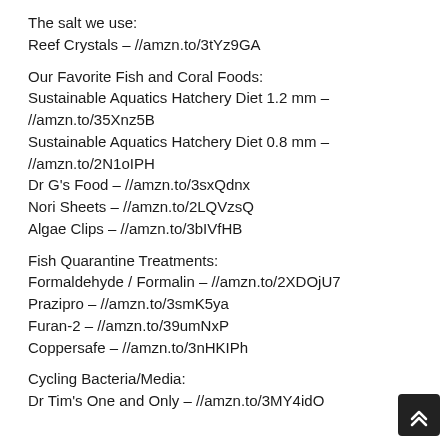The salt we use:
Reef Crystals – //amzn.to/3tYz9GA
Our Favorite Fish and Coral Foods:
Sustainable Aquatics Hatchery Diet 1.2 mm – //amzn.to/35Xnz5B
Sustainable Aquatics Hatchery Diet 0.8 mm – //amzn.to/2N1oIPH
Dr G's Food – //amzn.to/3sxQdnx
Nori Sheets – //amzn.to/2LQVzsQ
Algae Clips – //amzn.to/3bIVfHB
Fish Quarantine Treatments:
Formaldehyde / Formalin – //amzn.to/2XDOjU7
Prazipro – //amzn.to/3smK5ya
Furan-2 – //amzn.to/39umNxP
Coppersafe – //amzn.to/3nHKIPh
Cycling Bacteria/Media:
Dr Tim's One and Only – //amzn.to/3MY4idO